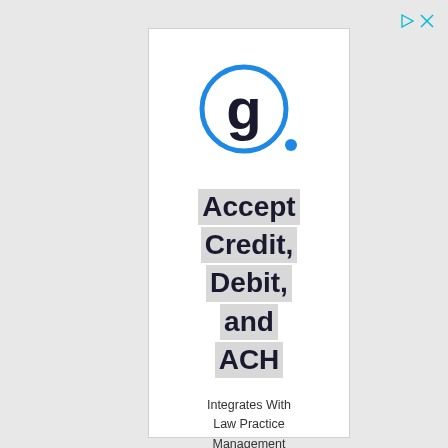[Figure (logo): Gravity Payments logo: bold lowercase 'g.' in dark navy inside a blue circle, with a small blue dot to the right at the bottom of the circle]
Accept Credit, Debit, and ACH
Integrates With Law Practice Management and Legal Accounting Systems.